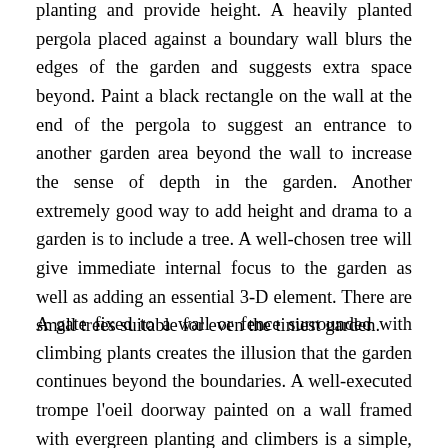planting and provide height. A heavily planted pergola placed against a boundary wall blurs the edges of the garden and suggests extra space beyond. Paint a black rectangle on the wall at the end of the pergola to suggest an entrance to another garden area beyond the wall to increase the sense of depth in the garden. Another extremely good way to add height and drama to a garden is to include a tree. A well-chosen tree will give immediate internal focus to the garden as well as adding an essential 3-D element. There are small trees suitable for even the tiniest garden.
A gate fixed to a wall or fence surrounded with climbing plants creates the illusion that the garden continues beyond the boundaries. A well-executed trompe l'oeil doorway painted on a wall framed with evergreen planting and climbers is a simple, fun way to add interest and give the appearance of more space. Using diminishing sized pots, plants or statuary, or narrowing a path as it approaches the boundary will create a